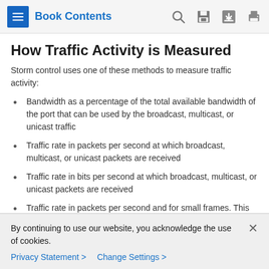Book Contents
How Traffic Activity is Measured
Storm control uses one of these methods to measure traffic activity:
Bandwidth as a percentage of the total available bandwidth of the port that can be used by the broadcast, multicast, or unicast traffic
Traffic rate in packets per second at which broadcast, multicast, or unicast packets are received
Traffic rate in bits per second at which broadcast, multicast, or unicast packets are received
Traffic rate in packets per second and for small frames. This feature is enabled globally. The threshold for small frames is
By continuing to use our website, you acknowledge the use of cookies.
Privacy Statement > Change Settings >